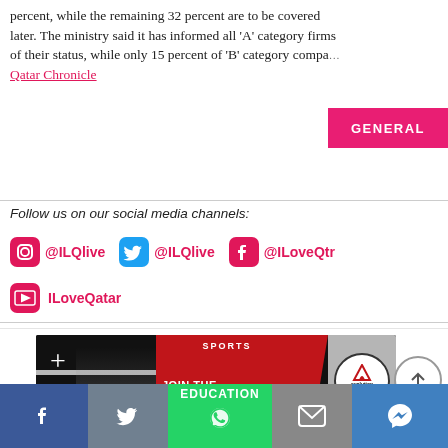percent, while the remaining 32 percent are to be covered later. The ministry said it has informed all 'A' category firms of their status, while only 15 percent of 'B' category compa…
Qatar Chronicle
GENERAL
Follow us on our social media channels:
@ILQlive @ILQlive @ILoveQtr
ILoveQatar
[Figure (photo): Evolution Sports Qatar advertisement banner showing athletes and the text JOIN THE EVOLUTION, SPORTS, HEALTH WELLNESS]
EDUCATION
Facebook | Twitter | WhatsApp | Email | Messenger